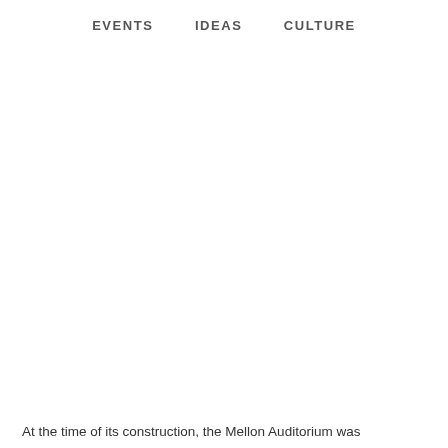EVENTS   IDEAS   CULTURE
At the time of its construction, the Mellon Auditorium was